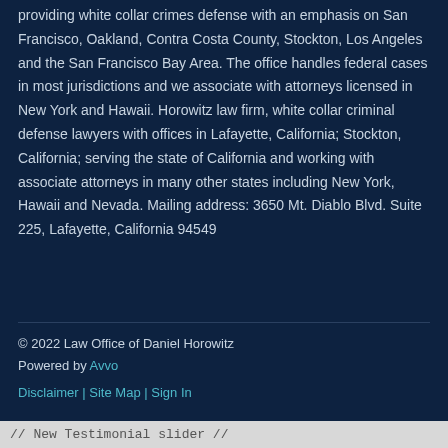providing white collar crimes defense with an emphasis on San Francisco, Oakland, Contra Costa County, Stockton, Los Angeles and the San Francisco Bay Area. The office handles federal cases in most jurisdictions and we associate with attorneys licensed in New York and Hawaii. Horowitz law firm, white collar criminal defense lawyers with offices in Lafayette, California; Stockton, California; serving the state of California and working with associate attorneys in many other states including New York, Hawaii and Nevada. Mailing address: 3650 Mt. Diablo Blvd. Suite 225, Lafayette, California 94549
© 2022 Law Office of Daniel Horowitz
Powered by Avvo

Disclaimer | Site Map | Sign In
// New Testimonial slider //